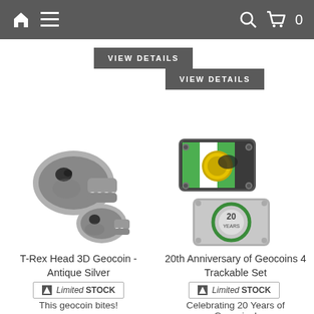Navigation bar with home, menu, search, and cart icons
VIEW DETAILS (left button)
VIEW DETAILS (right button)
[Figure (photo): T-Rex Head 3D Geocoin in Antique Silver - two dinosaur skull shaped metal coins]
[Figure (photo): 20th Anniversary of Geocoins 4 Trackable Set - two metal coins, one rectangular with colorful design, one square silver with 20 Years text in green circle]
T-Rex Head 3D Geocoin - Antique Silver
20th Anniversary of Geocoins 4 Trackable Set
Limited STOCK
Limited STOCK
This geocoin bites!
Celebrating 20 Years of Geocoins!